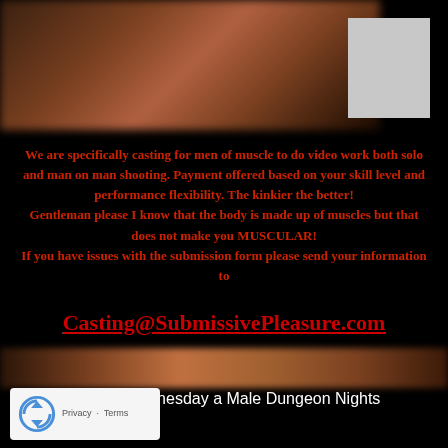[Figure (photo): Blurred/obscured photo at top of page, dark brownish tones]
We are specifically casting for men of muscle to do video work both solo and man on man shooting. Payment offered based on your skill level and performance flexibility. The kinkier the better!
Gentleman please I know that the body is made up of muscles but that does not make you MUSCULAR!
If you have issues with the submission form please send your information to
Casting@SubmissivePleasure.com
Master Stephen's Dungeon - ALeatherHouse.com
Wicked Wednesday a Male Dungeon Nights
[Figure (photo): Blurred/obscured photo at bottom of page, brown tones]
[Figure (other): Google reCAPTCHA widget with Privacy and Terms links]